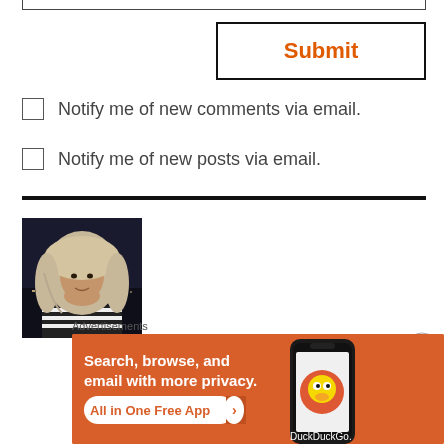[Figure (screenshot): Top portion of a text input field border]
[Figure (screenshot): Submit button with orange text on white background with black border]
Notify me of new comments via email.
Notify me of new posts via email.
[Figure (photo): Profile photo of a woman wearing a hijab, nighttime outdoor background]
Advertisements
[Figure (screenshot): DuckDuckGo advertisement banner: Search, browse, and email with more privacy. All in One Free App. DuckDuckGo logo on right.]